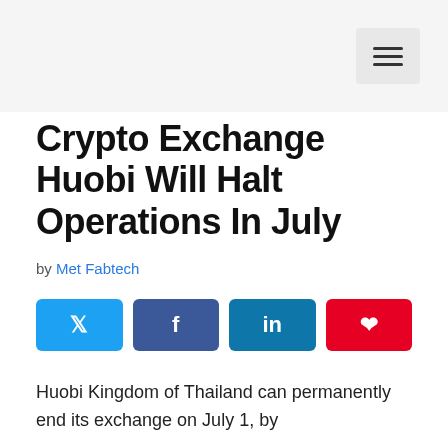Crypto Exchange Huobi Will Halt Operations In July
by Met Fabtech
[Figure (infographic): Social media share buttons: Twitter (blue), Facebook (dark blue), LinkedIn (blue), Pinterest (red)]
Huobi Kingdom of Thailand can permanently end its exchange on July 1, by